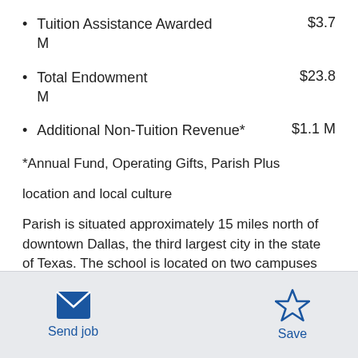Tuition Assistance Awarded   $3.7 M
Total Endowment   $23.8 M
Additional Non-Tuition Revenue*   $1.1 M
*Annual Fund, Operating Gifts, Parish Plus
location and local culture
Parish is situated approximately 15 miles north of downtown Dallas, the third largest city in the state of Texas. The school is located on two campuses
Send job   Save